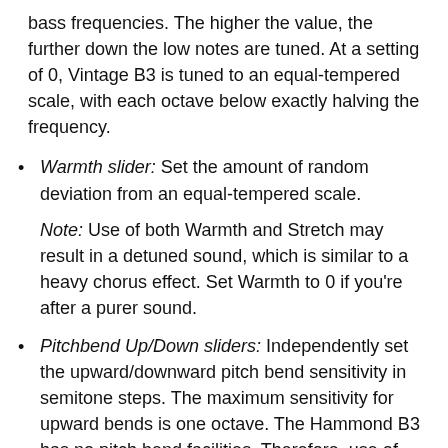bass frequencies. The higher the value, the further down the low notes are tuned. At a setting of 0, Vintage B3 is tuned to an equal-tempered scale, with each octave below exactly halving the frequency.
Warmth slider: Set the amount of random deviation from an equal-tempered scale.
Note: Use of both Warmth and Stretch may result in a detuned sound, which is similar to a heavy chorus effect. Set Warmth to 0 if you're after a purer sound.
Pitchbend Up/Down sliders: Independently set the upward/downward pitch bend sensitivity in semitone steps. The maximum sensitivity for upward bends is one octave. The Hammond B3 has no pitch bend facilities. Therefore, use of